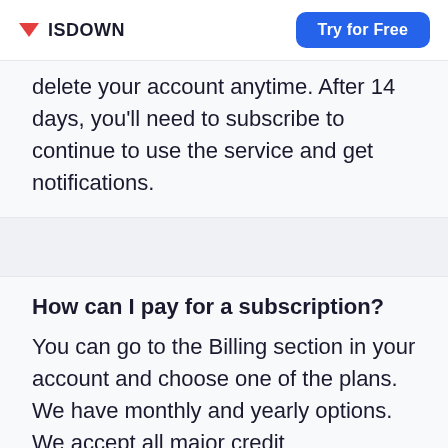ISDOWN | Try for Free
delete your account anytime. After 14 days, you'll need to subscribe to continue to use the service and get notifications.
How can I pay for a subscription?
You can go to the Billing section in your account and choose one of the plans. We have monthly and yearly options. We accept all major credit